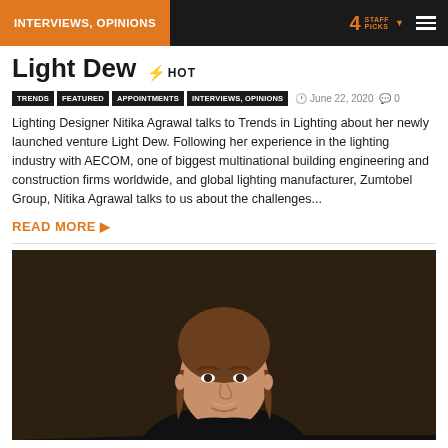INTERVIEWS, OPINIONS | 4 STAFF PICKS
Light Dew 🔥 HOT
TRENDS  FEATURED  APPOINTMENTS  INTERVIEWS, OPINIONS  June 22, 2020  0
Lighting Designer Nitika Agrawal talks to Trends in Lighting about her newly launched venture Light Dew. Following her experience in the lighting industry with AECOM, one of biggest multinational building engineering and construction firms worldwide, and global lighting manufacturer, Zumtobel Group, Nitika Agrawal talks to us about the challenges...
READ MORE ▶
[Figure (photo): Portrait photo of a woman with straight brown hair and bangs, wearing a black top, against a dark brown background, smiling softly.]